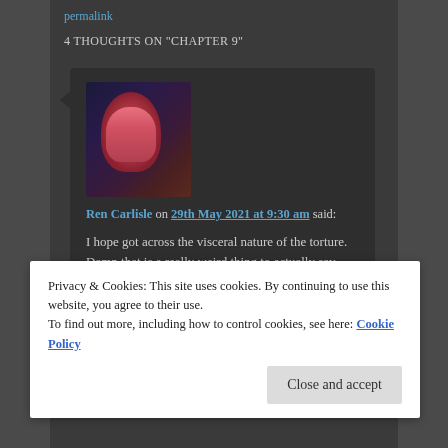permalink
4 THOUGHTS ON "CHAPTER 9"
[Figure (photo): Anime-style avatar with red-haired female character]
Ren Carlisle on 29th May 2021 at 9:30 am said:
I hope got across the visceral nature of the torture. Damn that is a really weird thing to actually say. Don't mind me. Well, I still look forward to hearing your feedback.
Liked by 1 person
Privacy & Cookies: This site uses cookies. By continuing to use this website, you agree to their use.
To find out more, including how to control cookies, see here: Cookie Policy
Close and accept